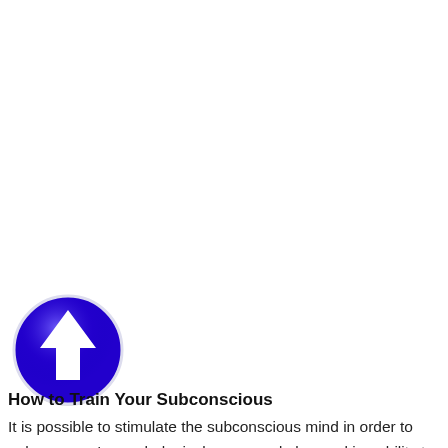[Figure (illustration): A blue circular button/icon with a glossy finish and a white upward-pointing arrow in the center]
How to Train Your Subconscious
It is possible to stimulate the subconscious mind in order to enhance one's psychological power and also working ability to the extent that an individual may appear to have superhuman